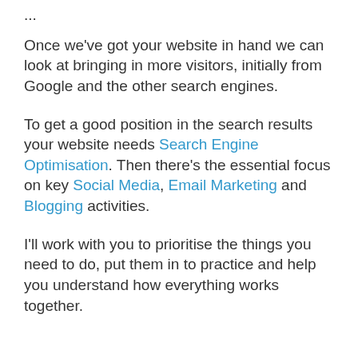...
Once we've got your website in hand we can look at bringing in more visitors, initially from Google and the other search engines.
To get a good position in the search results your website needs Search Engine Optimisation. Then there's the essential focus on key Social Media, Email Marketing and Blogging activities.
I'll work with you to prioritise the things you need to do, put them in to practice and help you understand how everything works together.